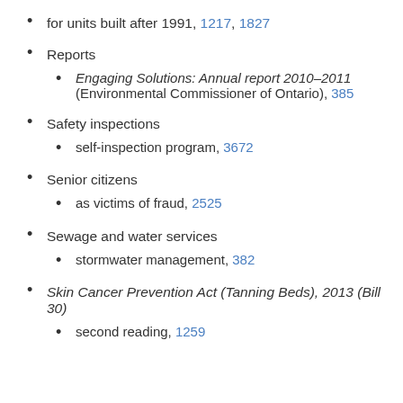for units built after 1991, 1217, 1827
Reports
Engaging Solutions: Annual report 2010–2011 (Environmental Commissioner of Ontario), 385
Safety inspections
self-inspection program, 3672
Senior citizens
as victims of fraud, 2525
Sewage and water services
stormwater management, 382
Skin Cancer Prevention Act (Tanning Beds), 2013 (Bill 30)
second reading, 1259